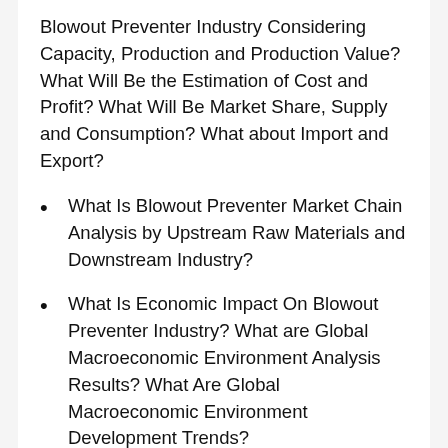Blowout Preventer Industry Considering Capacity, Production and Production Value? What Will Be the Estimation of Cost and Profit? What Will Be Market Share, Supply and Consumption? What about Import and Export?
What Is Blowout Preventer Market Chain Analysis by Upstream Raw Materials and Downstream Industry?
What Is Economic Impact On Blowout Preventer Industry? What are Global Macroeconomic Environment Analysis Results? What Are Global Macroeconomic Environment Development Trends?